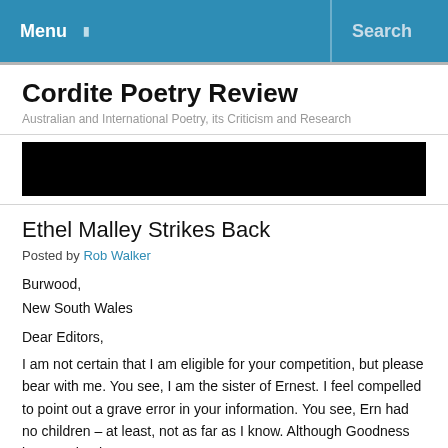Menu   Search
Cordite Poetry Review
Australian and International Poetry, its Criticism and Research
[Figure (photo): Black banner/header image for Cordite Poetry Review website]
Ethel Malley Strikes Back
Posted by Rob Walker
Burwood,
New South Wales
Dear Editors,
I am not certain that I am eligible for your competition, but please bear with me. You see, I am the sister of Ernest. I feel compelled to point out a grave error in your information. You see, Ern had no children – at least, not as far as I know. Although Goodness knows what he got up